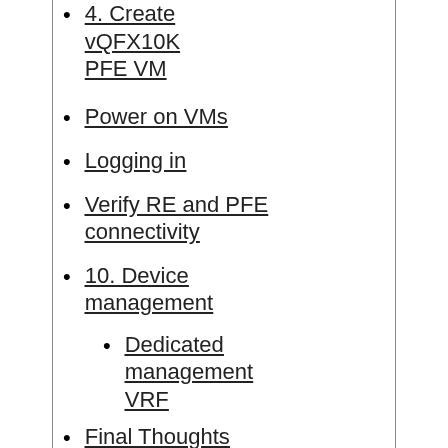4. Create vQFX10K PFE VM
Power on VMs
Logging in
Verify RE and PFE connectivity
10. Device management
Dedicated management VRF
Final Thoughts